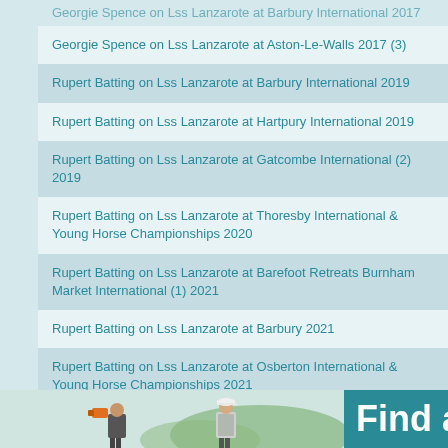Georgie Spence on Lss Lanzarote at Barbury International 2017
Georgie Spence on Lss Lanzarote at Aston-Le-Walls 2017 (3)
Rupert Batting on Lss Lanzarote at Barbury International 2019
Rupert Batting on Lss Lanzarote at Hartpury International 2019
Rupert Batting on Lss Lanzarote at Gatcombe International (2) 2019
Rupert Batting on Lss Lanzarote at Thoresby International & Young Horse Championships 2020
Rupert Batting on Lss Lanzarote at Barefoot Retreats Burnham Market International (1) 2021
Rupert Batting on Lss Lanzarote at Barbury 2021
Rupert Batting on Lss Lanzarote at Osberton International & Young Horse Championships 2021
[Figure (photo): Photo of two people, one on left with orange camera equipment and one on right wearing white cap and vest, against a green background. Partial teal panel on right with text 'Find a']